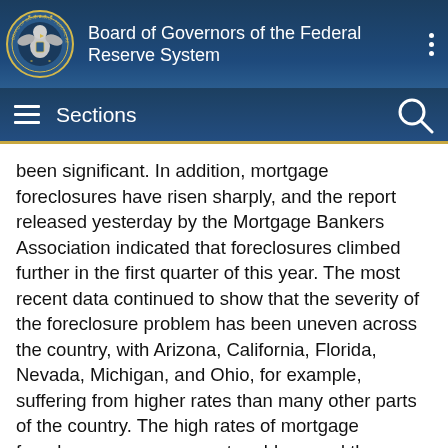Board of Governors of the Federal Reserve System
Sections
been significant. In addition, mortgage foreclosures have risen sharply, and the report released yesterday by the Mortgage Bankers Association indicated that foreclosures climbed further in the first quarter of this year. The most recent data continued to show that the severity of the foreclosure problem has been uneven across the country, with Arizona, California, Florida, Nevada, Michigan, and Ohio, for example, suffering from higher rates than many other parts of the country. The high rates of mortgage foreclosures are an urgent problem, and the Federal Reserve has been working hard to help prevent avoidable foreclosures and to promote responsible mortgage lending. I expect housing markets to recover only gradually as demand rebounds and excess inventories are worked off.  The